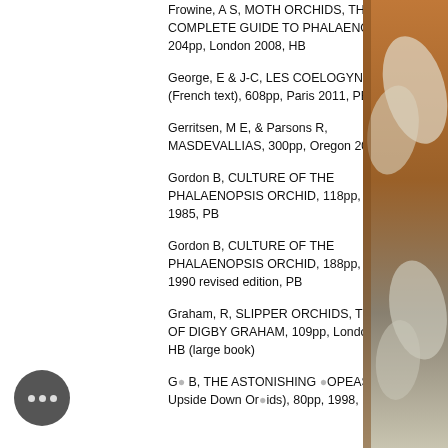Frowine, A S, MOTH ORCHIDS, THE COMPLETE GUIDE TO PHALAENOPSIS, 204pp, London 2008, HB
George, E & J-C, LES COELOGYNES (French text), 608pp, Paris 2011, PB
Gerritsen, M E, & Parsons R, MASDEVALLIAS, 300pp, Oregon 2005, HB
Gordon B, CULTURE OF THE PHALAENOPSIS ORCHID, 118pp, California 1985, PB
Gordon B, CULTURE OF THE PHALAENOPSIS ORCHID, 188pp, California 1990 revised edition, PB
Graham, R, SLIPPER ORCHIDS, THE ART OF DIGBY GRAHAM, 109pp, London 1982, HB (large book)
G[...] B, THE ASTONISHING [...]OPEAS (The Upside Down Orchids), 80pp, 1998, PB
[Figure (photo): Right-side background photo showing orchid flowers in warm brown/grey tones]